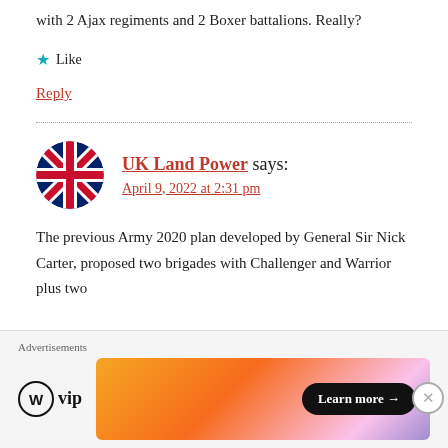with 2 Ajax regiments and 2 Boxer battalions. Really?
★ Like
Reply
UK Land Power says:
April 9, 2022 at 2:31 pm
The previous Army 2020 plan developed by General Sir Nick Carter, proposed two brigades with Challenger and Warrior plus two
[Figure (logo): UK flag (Union Jack) circular avatar]
[Figure (logo): WordPress VIP logo with swirl icon]
[Figure (other): Advertisement banner with gradient background and Learn more button]